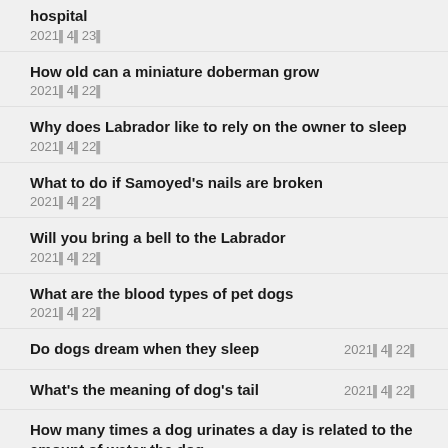hospital
2021年4月23日
How old can a miniature doberman grow
2021年4月22日
Why does Labrador like to rely on the owner to sleep
2021年4月22日
What to do if Samoyed's nails are broken
2021年4月22日
Will you bring a bell to the Labrador
2021年4月22日
What are the blood types of pet dogs
2021年4月22日
Do dogs dream when they sleep  2021年4月22日
What's the meaning of dog's tail  2021年4月22日
How many times a dog urinates a day is related to the amount of water the dog